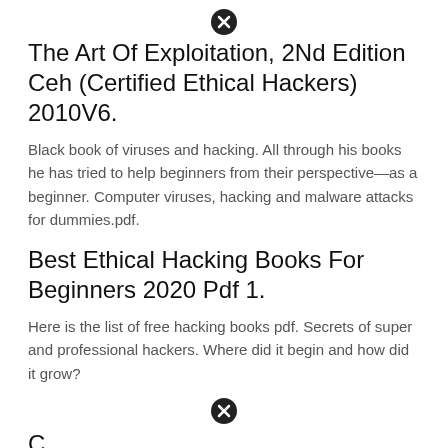[Figure (other): Close/dismiss icon (circle with X) at top center of page]
The Art Of Exploitation, 2Nd Edition Ceh (Certified Ethical Hackers) 2010V6.
Black book of viruses and hacking. All through his books he has tried to help beginners from their perspective—as a beginner. Computer viruses, hacking and malware attacks for dummies.pdf.
Best Ethical Hacking Books For Beginners 2020 Pdf 1.
Here is the list of free hacking books pdf. Secrets of super and professional hackers. Where did it begin and how did it grow?
[Figure (other): Close/dismiss icon (circle with X) near bottom center of page]
C... (partial text cut off at bottom)